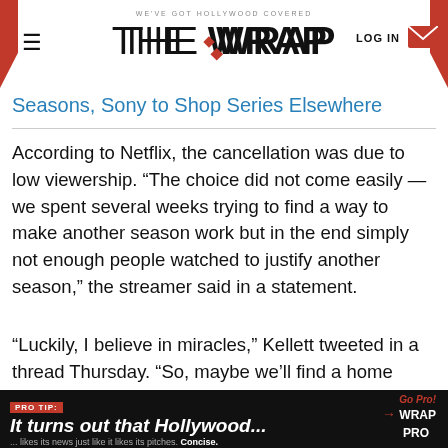WE'VE GOT HOLLYWOOD COVERED — THE WRAP
Seasons, Sony to Shop Series Elsewhere
According to Netflix, the cancellation was due to low viewership. “The choice did not come easily — we spent several weeks trying to find a way to make another season work but in the end simply not enough people watched to justify another season,” the streamer said in a statement.
“Luckily, I believe in miracles,” Kellett tweeted in a thread Thursday. “So, maybe we’ll find a home somewhere else. I hope we do cause @mikeroyce & I
PRO TIP: It turns out that Hollywood... Go Pro! WRAP PRO ... likes its news just like it likes its pitches. Concise.